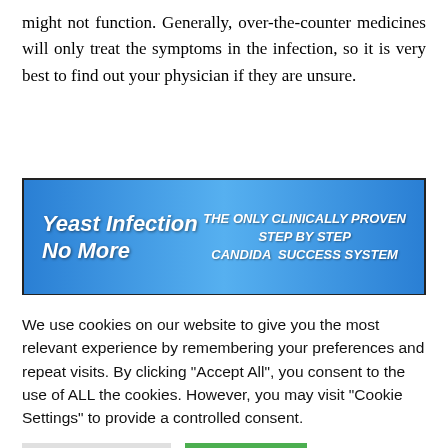might not function. Generally, over-the-counter medicines will only treat the symptoms in the infection, so it is very best to find out your physician if they are unsure.
[Figure (infographic): Blue gradient banner advertisement reading 'Yeast Infection No More' on the left in italic white text, and 'THE ONLY CLINICALLY PROVEN STEP BY STEP CANDIDA SUCCESS SYSTEM' on the right in bold italic white capital letters.]
The trigger of a yeast infection is actually a fungus referred to as candida. These fungi are naturally present in the physique, but can cause infection if they are
We use cookies on our website to give you the most relevant experience by remembering your preferences and repeat visits. By clicking "Accept All", you consent to the use of ALL the cookies. However, you may visit "Cookie Settings" to provide a controlled consent.